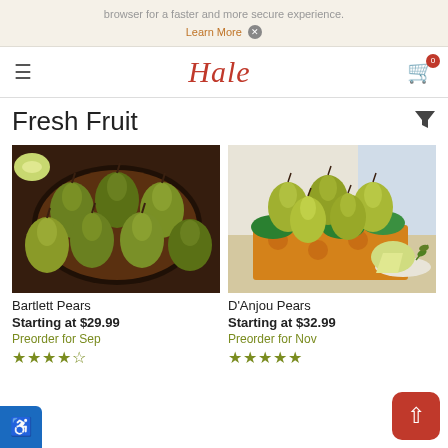browser for a faster and more secure experience. Learn More X
[Figure (logo): Hale brand logo in red italic script font, with hamburger menu icon on left and shopping cart icon with badge '0' on right]
Fresh Fruit
[Figure (photo): Bowl of Bartlett Pears on dark wooden surface, top-down view]
Bartlett Pears
Starting at $29.99
Preorder for Sep
[Figure (photo): D'Anjou Pears arranged in a decorative gift box with green tissue paper, with a sliced pear on a plate in the foreground]
D'Anjou Pears
Starting at $32.99
Preorder for Nov